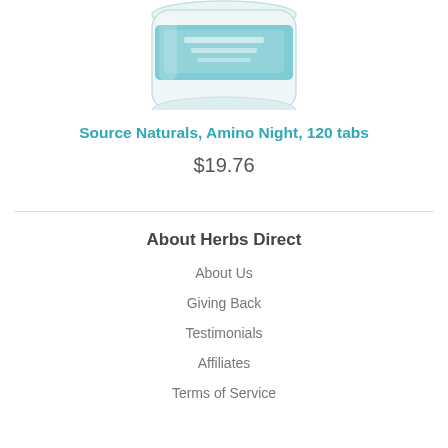[Figure (photo): Product photo of Source Naturals Amino Night supplement bottle, white round container with teal label, partially cropped at top]
Source Naturals, Amino Night, 120 tabs
$19.76
About Herbs Direct
About Us
Giving Back
Testimonials
Affiliates
Terms of Service